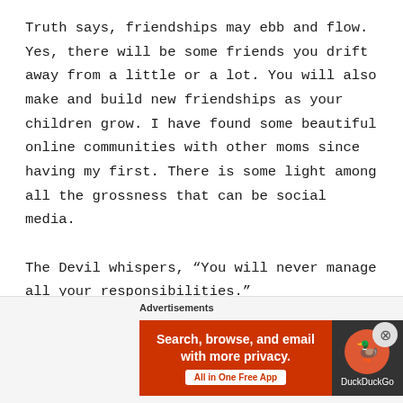Truth says, friendships may ebb and flow. Yes, there will be some friends you drift away from a little or a lot. You will also make and build new friendships as your children grow. I have found some beautiful online communities with other moms since having my first. There is some light among all the grossness that can be social media.

The Devil whispers, “You will never manage all your responsibilities.”
[Figure (other): DuckDuckGo advertisement banner with orange background, text 'Search, browse, and email with more privacy. All in One Free App' and DuckDuckGo logo on dark background]